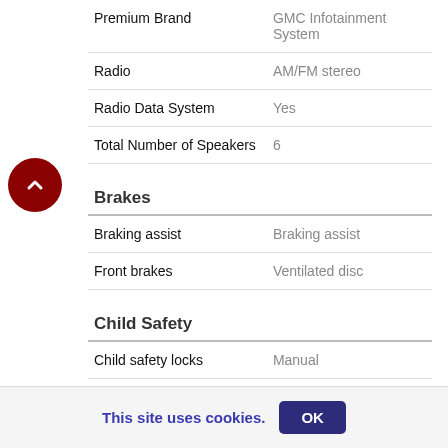| Feature | Value |
| --- | --- |
| Premium Brand | GMC Infotainment System |
| Radio | AM/FM stereo |
| Radio Data System | Yes |
| Total Number of Speakers | 6 |
Brakes
| Feature | Value |
| --- | --- |
| Braking assist | Braking assist |
| Front brakes | Ventilated disc |
Child Safety
| Feature | Value |
| --- | --- |
| Child safety locks | Manual |
Colors
| Feature | Value |
| --- | --- |
| Fabric Type | Vinyl |
This site uses cookies.